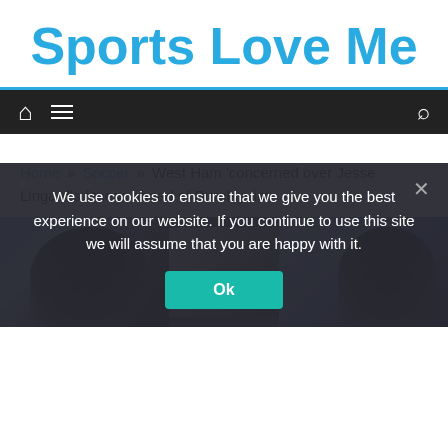Sports Love Me
[Figure (screenshot): Navigation bar with home icon, hamburger menu icon, and search icon on dark background]
Home » Soccer » West Ham 'concerned over Jesse Lingard's fitness ahead of Burnley tie'
[Figure (photo): Three sports players photo strip]
We use cookies to ensure that we give you the best experience on our website. If you continue to use this site we will assume that you are happy with it.